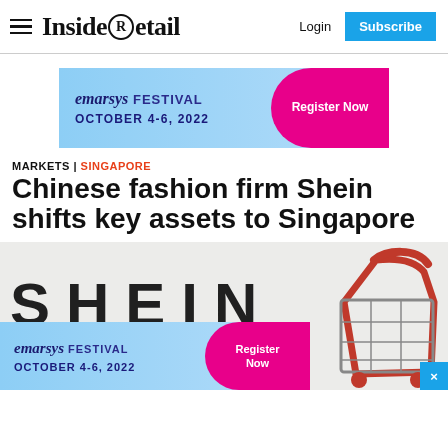Inside Retail | Login | Subscribe
[Figure (screenshot): Emarsys Festival banner ad: blue background with pink blob, text 'emarsys FESTIVAL OCTOBER 4-6, 2022' and 'Register Now' button]
MARKETS | SINGAPORE
Chinese fashion firm Shein shifts key assets to Singapore
[Figure (photo): Photo of SHEIN logo text with a red shopping cart in the foreground, with Emarsys Festival ad overlay at the bottom]